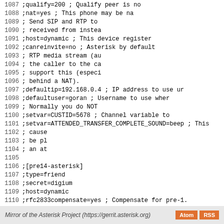Code listing lines 1087-1115 from Asterisk SIP configuration file
Mirror of the Asterisk Project (https://gerrit.asterisk.org)  Atom  RSS